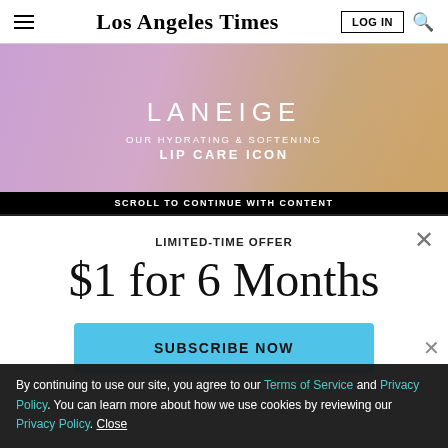Los Angeles Times
[Figure (photo): LANEIGE advertisement banner showing a woman with blonde hair on a purple background. Text reads: LANEIGE / OUR HYDRATING & SOFTENING / LIP CARE ICON]
SCROLL TO CONTINUE WITH CONTENT
LIMITED-TIME OFFER
$1 for 6 Months
SUBSCRIBE NOW
By continuing to use our site, you agree to our Terms of Service and Privacy Policy. You can learn more about how we use cookies by reviewing our Privacy Policy. Close